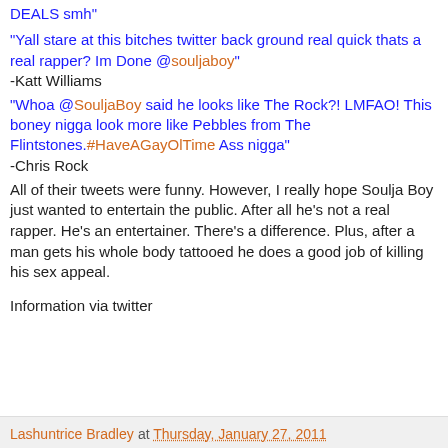DEALS smh"
"Yall stare at this bitches twitter back ground real quick thats a real rapper? Im Done @souljaboy"
-Katt Williams
"Whoa @SouljaBoy said he looks like The Rock?! LMFAO! This boney nigga look more like Pebbles from The Flintstones.#HaveAGayOlTime Ass nigga"
-Chris Rock
All of their tweets were funny. However, I really hope Soulja Boy just wanted to entertain the public. After all he's not a real rapper. He's an entertainer. There's a difference. Plus, after a man gets his whole body tattooed he does a good job of killing his sex appeal.
Information via twitter
Lashuntrice Bradley at Thursday, January 27, 2011